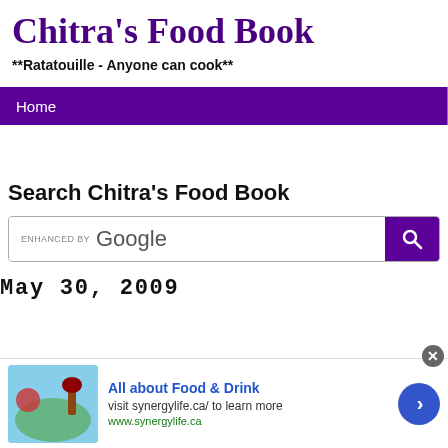Chitra's Food Book
**Ratatouille - Anyone can cook**
Home
Search Chitra's Food Book
enhanced by Google [search box]
May 30, 2009
All about Food & Drink
visit synergylife.ca/ to learn more
www.synergylife.ca